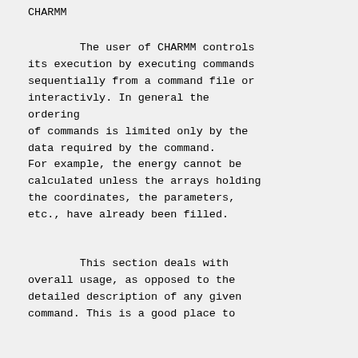CHARMM
The user of CHARMM controls its execution by executing commands sequentially from a command file or interactivly. In general the ordering of commands is limited only by the data required by the command. For example, the energy cannot be calculated unless the arrays holding the coordinates, the parameters, etc., have already been filled.
This section deals with overall usage, as opposed to the detailed description of any given command. This is a good place to